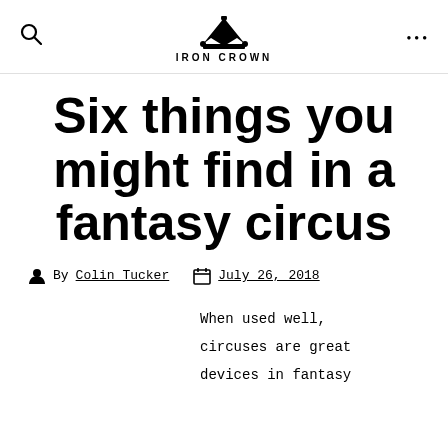IRON CROWN
Six things you might find in a fantasy circus
By Colin Tucker   July 26, 2018
When used well, circuses are great devices in fantasy